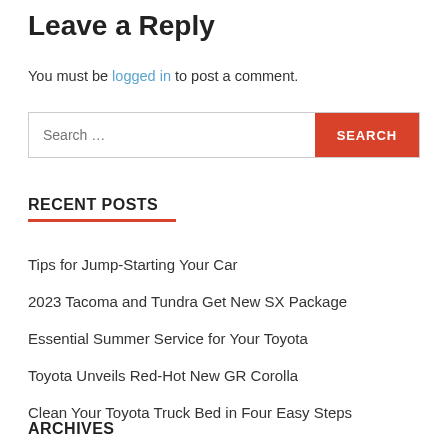Leave a Reply
You must be logged in to post a comment.
Search ...
RECENT POSTS
Tips for Jump-Starting Your Car
2023 Tacoma and Tundra Get New SX Package
Essential Summer Service for Your Toyota
Toyota Unveils Red-Hot New GR Corolla
Clean Your Toyota Truck Bed in Four Easy Steps
ARCHIVES